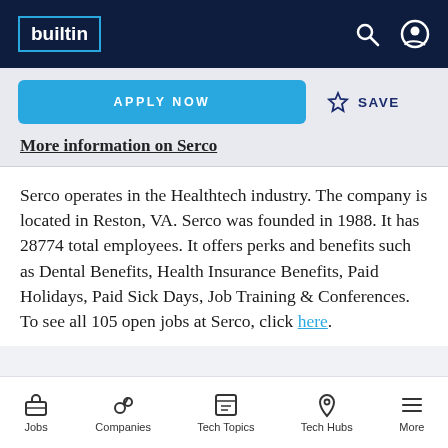builtin
APPLY NOW   ☆ SAVE
More information on Serco
Serco operates in the Healthtech industry. The company is located in Reston, VA. Serco was founded in 1988. It has 28774 total employees. It offers perks and benefits such as Dental Benefits, Health Insurance Benefits, Paid Holidays, Paid Sick Days, Job Training & Conferences. To see all 105 open jobs at Serco, click here.
Jobs   Companies   Tech Topics   Tech Hubs   More